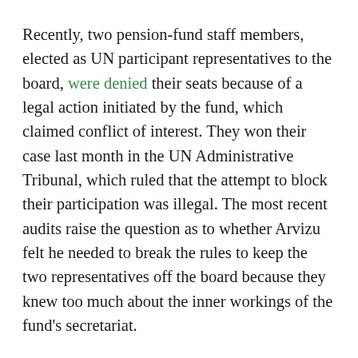Recently, two pension-fund staff members, elected as UN participant representatives to the board, were denied their seats because of a legal action initiated by the fund, which claimed conflict of interest. They won their case last month in the UN Administrative Tribunal, which ruled that the attempt to block their participation was illegal. The most recent audits raise the question as to whether Arvizu felt he needed to break the rules to keep the two representatives off the board because they knew too much about the inner workings of the fund's secretariat.
It is increasingly evident that the fund's leadership is part of a larger problem of a lack of oversight, transparency and democratic practices by the board.
[Figure (infographic): Social media share buttons: Facebook (dark blue), Twitter (light blue), LinkedIn (blue), Telegram (cyan-blue)]